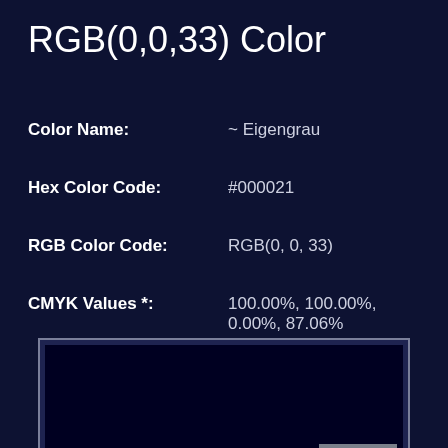RGB(0,0,33) Color
Color Name:   ~ Eigengrau
Hex Color Code:   #000021
RGB Color Code:   RGB(0, 0, 33)
CMYK Values *:   100.00%, 100.00%, 0.00%, 87.06%
[Figure (other): Color swatch showing RGB(0,0,33) which is a very dark navy/black color, displayed in a rectangular box with a gray border. A CLOSE button appears at the bottom right of the swatch area.]